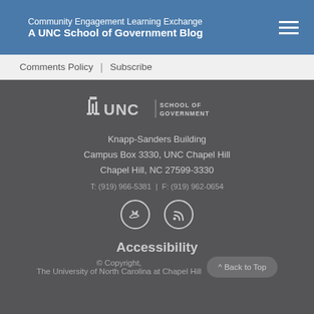Community Engagement Learning Exchange
A UNC School of Government Blog
Comments Policy  |  Subscribe
[Figure (logo): UNC School of Government logo with building icon]
Knapp-Sanders Building
Campus Box 3330, UNC Chapel Hill
Chapel Hill, NC 27599-3330
T: (919) 966-5381  |  F: (919) 962-0654
[Figure (illustration): Twitter and RSS social media icon circles]
Accessibility
© Copyright,
The University of North Carolina at Chapel Hill